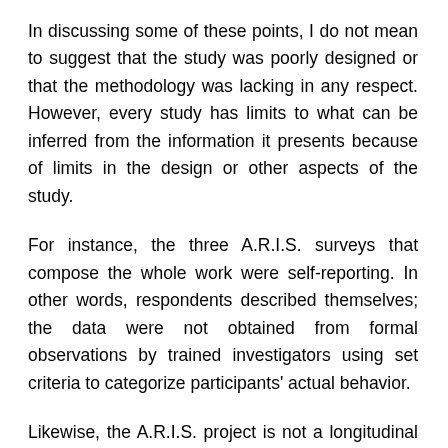In discussing some of these points, I do not mean to suggest that the study was poorly designed or that the methodology was lacking in any respect. However, every study has limits to what can be inferred from the information it presents because of limits in the design or other aspects of the study.
For instance, the three A.R.I.S. surveys that compose the whole work were self-reporting. In other words, respondents described themselves; the data were not obtained from formal observations by trained investigators using set criteria to categorize participants' actual behavior.
Likewise, the A.R.I.S. project is not a longitudinal study of a single sample of people, but a series of three surveys that gathered information from different samples in